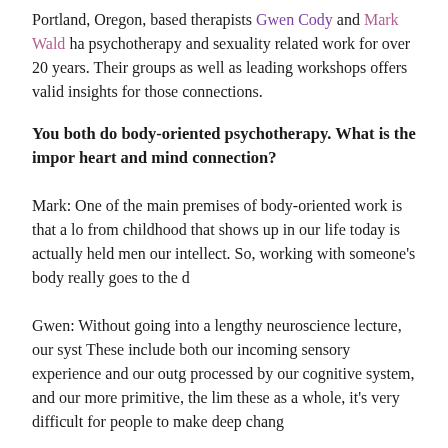Portland, Oregon, based therapists Gwen Cody and Mark Wald ha... psychotherapy and sexuality related work for over 20 years. Their groups as well as leading workshops offers valid insights for those connections.
You both do body-oriented psychotherapy. What is the importance of the heart and mind connection?
Mark: One of the main premises of body-oriented work is that a lot from childhood that shows up in our life today is actually held mem... our intellect. So, working with someone's body really goes to the c...
Gwen: Without going into a lengthy neuroscience lecture, our syst... These include both our incoming sensory experience and our outg... processed by our cognitive system, and our more primitive, the lim... these as a whole, it's very difficult for people to make deep chang...
How do you work in helping someone integrate their body alo...